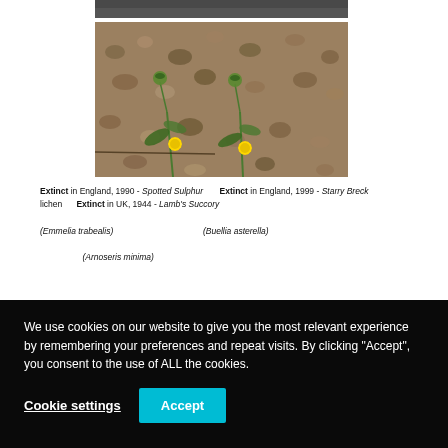[Figure (photo): Top portion of a photo, partially cropped at the top of the page — appears to be a dark/shadowed outdoor image.]
[Figure (photo): Photo of small yellow wildflowers growing among gravel and earth — likely Emmelia trabealis (Spotted Sulphur) or similar species in its natural habitat.]
Extinct in England, 1990 - Spotted Sulphur   Extinct in England, 1999 - Starry Breck lichen   Extinct in UK, 1944 - Lamb's Succory  (Emmelia trabealis)   (Buellia asterella)   (Arnoseris minima)
We use cookies on our website to give you the most relevant experience by remembering your preferences and repeat visits. By clicking "Accept", you consent to the use of ALL the cookies.